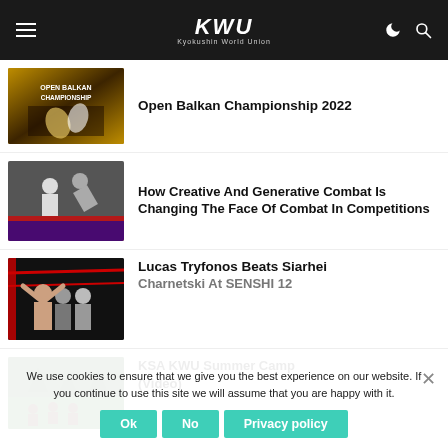KWU Kyokushin World Union
[Figure (photo): Open Balkan Championship 2022 event poster with martial arts fighters]
Open Balkan Championship 2022
[Figure (photo): Karate fighters competing on a mat, one performing a throw]
How Creative And Generative Combat Is Changing The Face Of Combat In Competitions
[Figure (photo): Fighter celebrating victory with arms raised in a boxing ring]
Lucas Tryfonos Beats Siarhei Charnetski At SENSHI 12
[Figure (photo): Outdoor martial arts summer camp group photo]
KSA KWU Summer Camp (Video)
We use cookies to ensure that we give you the best experience on our website. If you continue to use this site we will assume that you are happy with it.